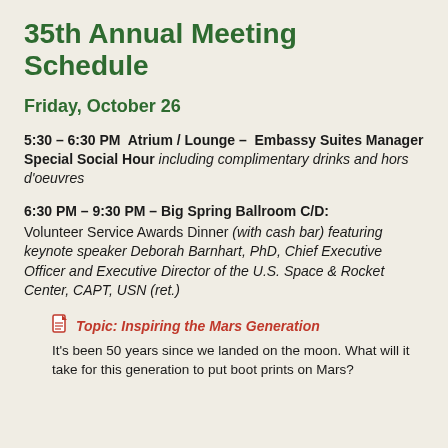35th Annual Meeting Schedule
Friday, October 26
5:30 – 6:30 PM  Atrium / Lounge –  Embassy Suites Manager Special Social Hour including complimentary drinks and hors d'oeuvres
6:30 PM – 9:30 PM – Big Spring Ballroom C/D: Volunteer Service Awards Dinner (with cash bar) featuring keynote speaker Deborah Barnhart, PhD, Chief Executive Officer and Executive Director of the U.S. Space & Rocket Center, CAPT, USN (ret.)
Topic: Inspiring the Mars Generation
It's been 50 years since we landed on the moon. What will it take for this generation to put boot prints on Mars?